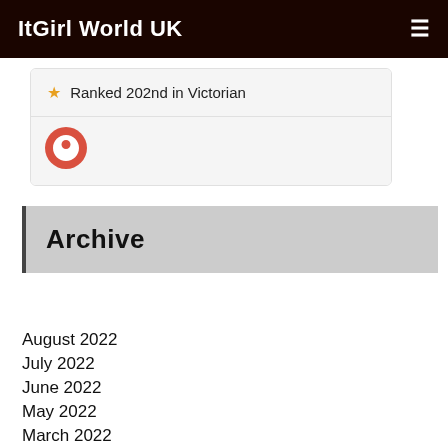ItGirl World UK
★ Ranked 202nd in Victorian
[Figure (logo): Red circular icon with a person silhouette (GitHub-style Octocat or similar mascot icon)]
Archive
August 2022
July 2022
June 2022
May 2022
March 2022
February 2022
December 2021
November 2021